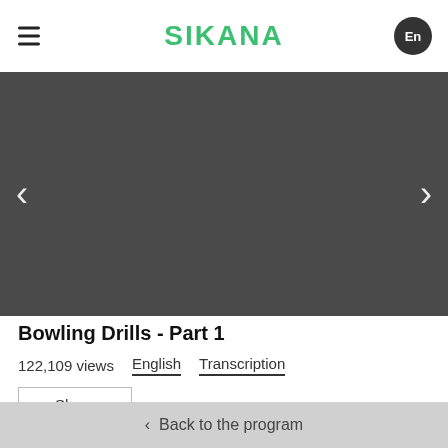SIKANA
[Figure (screenshot): Dark grey video player area with left and right navigation arrows]
Bowling Drills - Part 1
122,109 views   English   Transcription
Share
< Back to the program